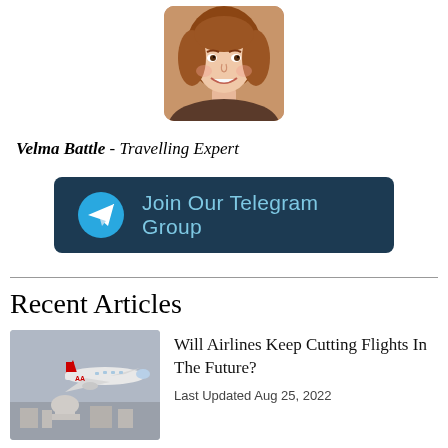[Figure (photo): Headshot photo of a smiling woman with reddish-auburn hair, centered at top of page]
Velma Battle - Travelling Expert
[Figure (infographic): Dark navy blue button with Telegram paper airplane icon and text 'Join Our Telegram Group' in light blue]
Recent Articles
[Figure (photo): Photo of an American Airlines airplane in flight, with the US Capitol building visible in the background below]
Will Airlines Keep Cutting Flights In The Future?
Last Updated Aug 25, 2022